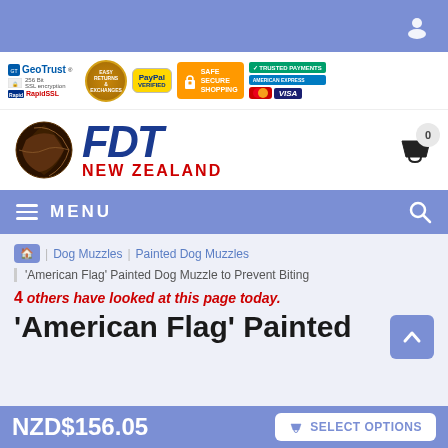Top navigation bar with user icon
[Figure (screenshot): Trust badges bar: GeoTrust 256-bit SSL, RapidSSL, Easy Returns & Exchanges, PayPal Verified, Safe Secure Shopping, Trusted Payments, MasterCard, American Express, Visa]
[Figure (logo): FDT New Zealand logo with globe/kiwi icon and shopping cart showing 0 items]
MENU navigation bar with hamburger icon and search icon
Dog Muzzles > Painted Dog Muzzles
'American Flag' Painted Dog Muzzle to Prevent Biting
4 others have looked at this page today.
'American Flag' Painted
NZD$156.05
SELECT OPTIONS